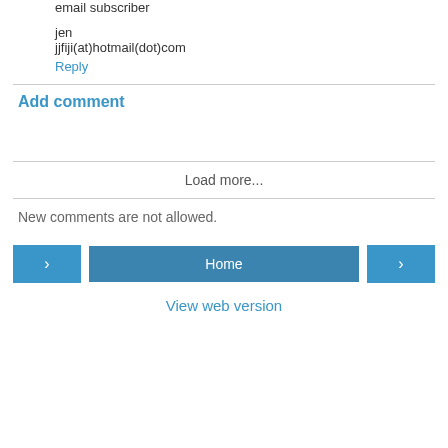email subscriber
jen
jjfiji(at)hotmail(dot)com
Reply
Add comment
Load more...
New comments are not allowed.
< Home >
View web version